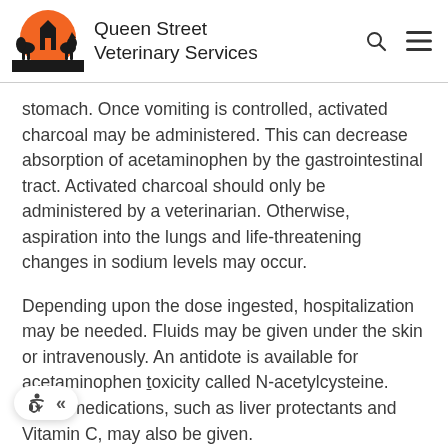Queen Street Veterinary Services
stomach. Once vomiting is controlled, activated charcoal may be administered. This can decrease absorption of acetaminophen by the gastrointestinal tract. Activated charcoal should only be administered by a veterinarian. Otherwise, aspiration into the lungs and life-threatening changes in sodium levels may occur.
Depending upon the dose ingested, hospitalization may be needed. Fluids may be given under the skin or intravenously. An antidote is available for acetaminophen toxicity called N-acetylcysteine. Other medications, such as liver protectants and Vitamin C, may also be given.